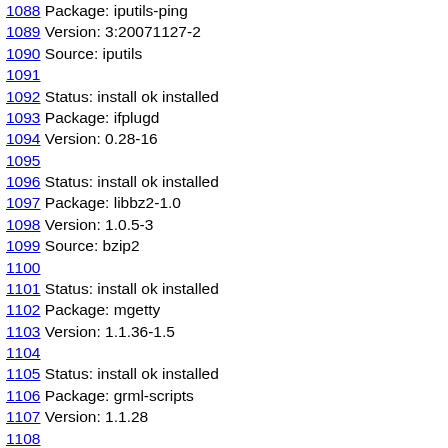1088 Package: iputils-ping
1089 Version: 3:20071127-2
1090 Source: iputils
1091
1092 Status: install ok installed
1093 Package: ifplugd
1094 Version: 0.28-16
1095
1096 Status: install ok installed
1097 Package: libbz2-1.0
1098 Version: 1.0.5-3
1099 Source: bzip2
1100
1101 Status: install ok installed
1102 Package: mgetty
1103 Version: 1.1.36-1.5
1104
1105 Status: install ok installed
1106 Package: grml-scripts
1107 Version: 1.1.28
1108
1109 Status: install ok installed
1110 Package: perl
1111 Version: 5.10.1-5
1112
1113 Status: install ok installed